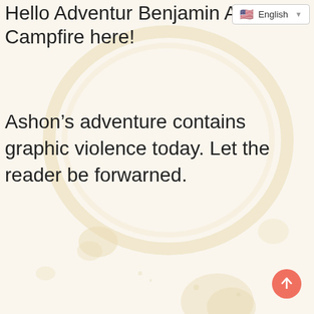English
Hello Adventur Benjamin A... Campfire here!
Ashon's adventure contains graphic violence today. Let the reader be forwarned.
[Figure (illustration): Decorative coffee stain / circular ring watermark pattern on a cream/off-white background, with a scroll-to-top button (salmon/coral colored circle with upward arrow) in the bottom-right corner.]